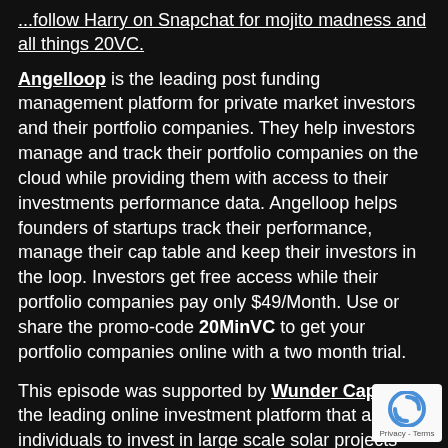...follow Harry on Snapchat for mojito madness and all things 20VC.
Angelloop is the leading post funding management platform for private market investors and their portfolio companies. They help investors manage and track their portfolio companies on the cloud while providing them with access to their investments performance data. Angelloop helps founders of startups track their performance, manage their cap table and keep their investors in the loop. Investors get free access while their portfolio companies pay only $49/Month. Use or share the promo-code 20MinVC to get your portfolio companies online with a two month trial.
This episode was supported by Wunder Capital, the leading online investment platform that allows individuals to invest in large scale solar projects across the U.S. Wunder's solar investment funds allow
[Figure (logo): reCAPTCHA badge showing Privacy - Terms]